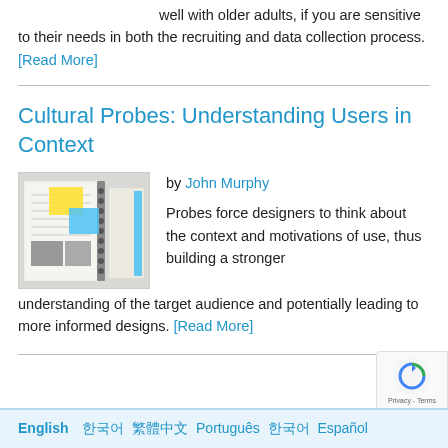well with older adults, if you are sensitive to their needs in both the recruiting and data collection process. [Read More]
Cultural Probes: Understanding Users in Context
by John Murphy
[Figure (photo): Photo of cultural probe materials including spiral-bound booklets and yellow sticky notes arranged on a surface]
Probes force designers to think about the context and motivations of use, thus building a stronger understanding of the target audience and potentially leading to more informed designs. [Read More]
English  한국어  繁體中文  Português  Español